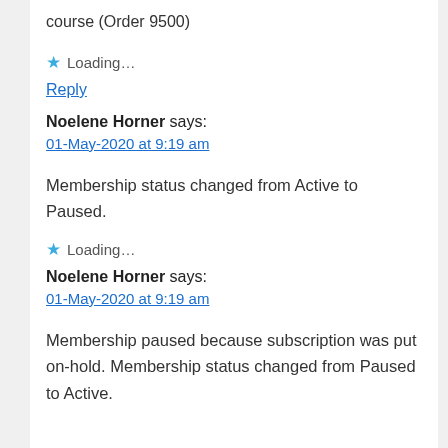course (Order 9500)
★ Loading…
Reply
Noelene Horner says:
01-May-2020 at 9:19 am
Membership status changed from Active to Paused.
★ Loading…
Noelene Horner says:
01-May-2020 at 9:19 am
Membership paused because subscription was put on-hold. Membership status changed from Paused to Active.